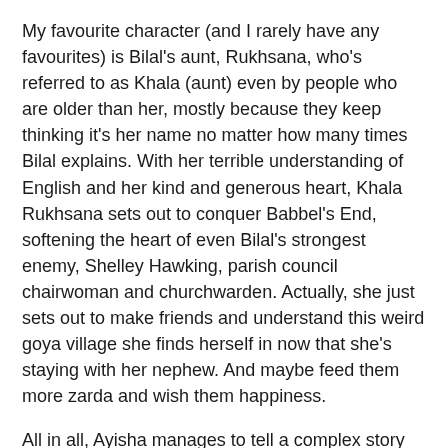My favourite character (and I rarely have any favourites) is Bilal's aunt, Rukhsana, who's referred to as Khala (aunt) even by people who are older than her, mostly because they keep thinking it's her name no matter how many times Bilal explains. With her terrible understanding of English and her kind and generous heart, Khala Rukhsana sets out to conquer Babbel's End, softening the heart of even Bilal's strongest enemy, Shelley Hawking, parish council chairwoman and churchwarden. Actually, she just sets out to make friends and understand this weird goya village she finds herself in now that she's staying with her nephew. And maybe feed them more zarda and wish them happiness.
All in all, Ayisha manages to tell a complex story about a very sensitive issue without casting anyone as an outright villain just for villainy's sake, highlighting instead the complexity and the nuances around religion, culture, and community. Unless, of course, you're a fragile white supremacist, in which case, you wouldn't enjoy this book.
After all these good bits, why only 4-stars though? Um,